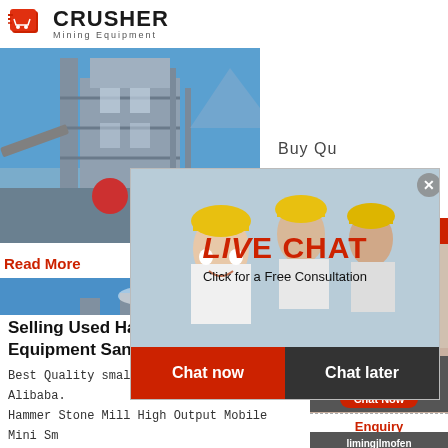[Figure (logo): Crusher Mining Equipment logo with red shopping bag/crusher icon and bold CRUSHER text with 'Mining Equipment' subtitle]
[Figure (photo): Industrial mining/crushing plant facility with multiple levels, conveyors, and machinery against blue sky]
Buy Qu
Read More
[Figure (photo): Mining plant facility exterior view with blue sky and industrial equipment]
[Figure (photo): Live Chat popup overlay showing workers in yellow hard hats]
LIVE CHAT
Click for a Free Consultation
Chat now
Chat later
[Figure (photo): 24Hrs Online panel with photo of female customer service representative wearing headset]
24Hrs Online
Need questions & suggestion?
Chat Now
Enquiry
limingjlmofen@sina.com
Selling Used Hammer Crusher Min Equipment Sangao-GOLD ...
Best Quality small stone hammer mill - Alibaba. Hammer Stone Mill High Output Mobile Mini Sm Crusher Used Gold Rock Stone Hammer Mill Crusher.